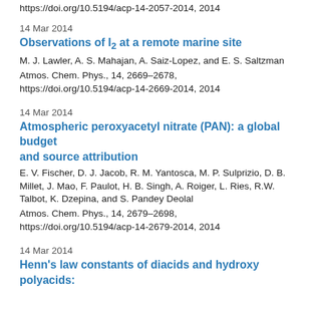https://doi.org/10.5194/acp-14-2057-2014, 2014
14 Mar 2014
Observations of I2 at a remote marine site
M. J. Lawler, A. S. Mahajan, A. Saiz-Lopez, and E. S. Saltzman
Atmos. Chem. Phys., 14, 2669–2678, https://doi.org/10.5194/acp-14-2669-2014, 2014
14 Mar 2014
Atmospheric peroxyacetyl nitrate (PAN): a global budget and source attribution
E. V. Fischer, D. J. Jacob, R. M. Yantosca, M. P. Sulprizio, D. B. Millet, J. Mao, F. Paulot, H. B. Singh, A. Roiger, L. Ries, R.W. Talbot, K. Dzepina, and S. Pandey Deolal
Atmos. Chem. Phys., 14, 2679–2698, https://doi.org/10.5194/acp-14-2679-2014, 2014
14 Mar 2014
Henn's law constants of diacids and hydroxy polyacids: